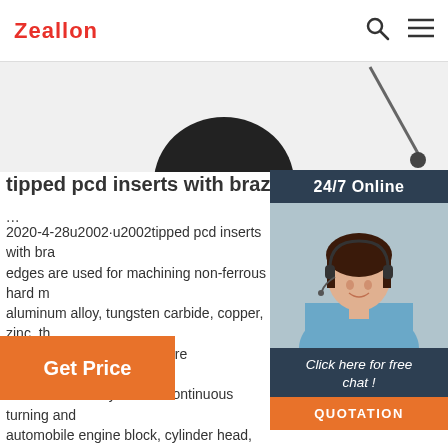Zeallon
[Figure (photo): Product image area showing dark circular/rounded shape at top with a diagonal line element]
[Figure (photo): Customer service widget: 24/7 Online banner, photo of smiling woman with headset, Click here for free chat! text, QUOTATION button]
tipped pcd inserts with brazed pcd cutting e
...
2020-4-28u2002·u2002tipped pcd inserts with brazed pcd cutting edges are used for machining non-ferrous hard metals: aluminum alloy, tungsten carbide, copper, zinc. the pcd inserts are made by pure polycrystalline diamond, inserts are mainly for cnc continuous turning and milling automobile engine block, cylinder head, transmission parts, gearbox.
Get Price